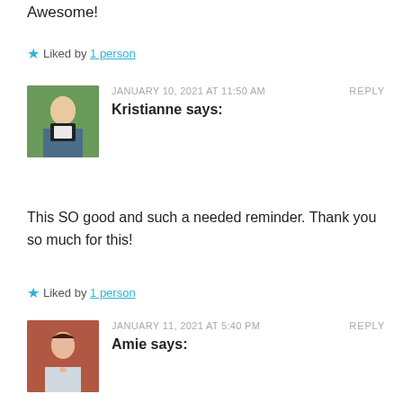Awesome!
★ Liked by 1 person
JANUARY 10, 2021 AT 11:50 AM   REPLY
Kristianne says:
This SO good and such a needed reminder. Thank you so much for this!
★ Liked by 1 person
JANUARY 11, 2021 AT 5:40 PM   REPLY
Amie says:
You're so welcome, Kristianne!